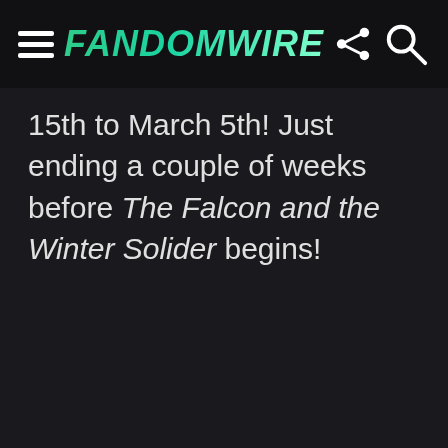FandomWire
15th to March 5th! Just ending a couple of weeks before The Falcon and the Winter Solider begins!